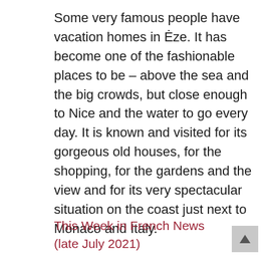Some very famous people have vacation homes in Èze. It has become one of the fashionable places to be – above the sea and the big crowds, but close enough to Nice and the water to go every day. It is known and visited for its gorgeous old houses, for the shopping, for the gardens and the view and for its very spectacular situation on the coast just next to Monaco and Italy.
This Week in French News (late July 2021)